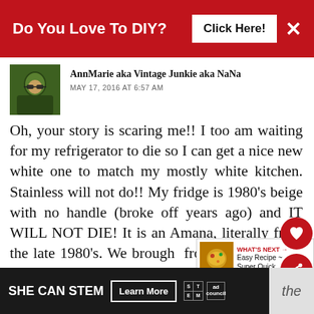Do You Love To DIY?  Click Here!
AnnMarie aka Vintage Junkie aka NaNa
MAY 17, 2016 AT 6:57 AM
Oh, your story is scaring me!! I too am waiting for my refrigerator to die so I can get a nice new white one to match my mostly white kitchen. Stainless will not do!! My fridge is 1980's beige with no handle (broke off years ago) and IT WILL NOT DIE! It is an Amana, literally from the late 1980's. We brought it from the last house because I had to have the bottom freezer feature. Oh
[Figure (infographic): WHAT'S NEXT arrow label with food image thumbnail and text: Easy Recipe ~ Super Quick...]
SHE CAN STEM  Learn More  (STEM logo) (ad council logo)